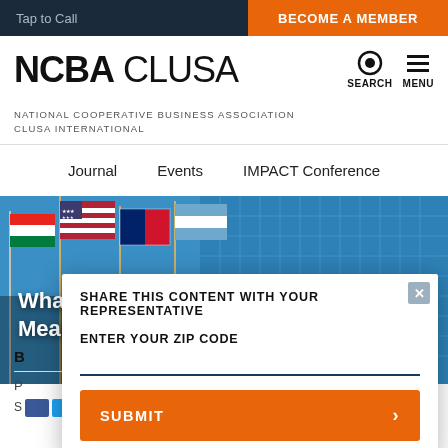Tap to Call | BECOME A MEMBER
NCBA CLUSA
NATIONAL COOPERATIVE BUSINESS ASSOCIATION CLUSA INTERNATIONAL
Journal  Events  IMPACT Conference
[Figure (photo): Multiple international flags flying in front of a blue glass building under a blue sky, including the US flag and an Argentinian flag]
What Does a Changing Marketplace Mean for Cooperatives?
SHARE THIS CONTENT WITH YOUR REPRESENTATIVE
ENTER YOUR ZIP CODE
SUBMIT